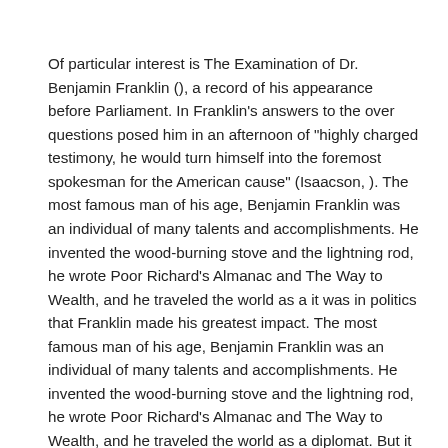Of particular interest is The Examination of Dr. Benjamin Franklin (), a record of his appearance before Parliament. In Franklin's answers to the over questions posed him in an afternoon of "highly charged testimony, he would turn himself into the foremost spokesman for the American cause" (Isaacson, ). The most famous man of his age, Benjamin Franklin was an individual of many talents and accomplishments. He invented the wood-burning stove and the lightning rod, he wrote Poor Richard's Almanac and The Way to Wealth, and he traveled the world as a it was in politics that Franklin made his greatest impact. The most famous man of his age, Benjamin Franklin was an individual of many talents and accomplishments. He invented the wood-burning stove and the lightning rod, he wrote Poor Richard's Almanac and The Way to Wealth, and he traveled the world as a diplomat. But it was in politics that Franklin made his greatest impact.